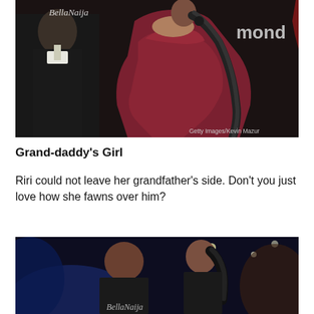[Figure (photo): A woman in a red/maroon off-shoulder satin dress with a long straight ponytail, viewed from behind, at a formal event. A man in a suit stands in the background. A partial word 'mond' visible on backdrop. Getty Images/Kevin Mazur credit. BellaNaija watermark.]
Grand-daddy's Girl
Riri could not leave her grandfather's side. Don't you just love how she fawns over him?
[Figure (photo): Two people at an event, a bald man and a woman with dark hair in a ponytail facing each other, shot in dim blue/purple lighting. BellaNaija watermark at the bottom.]